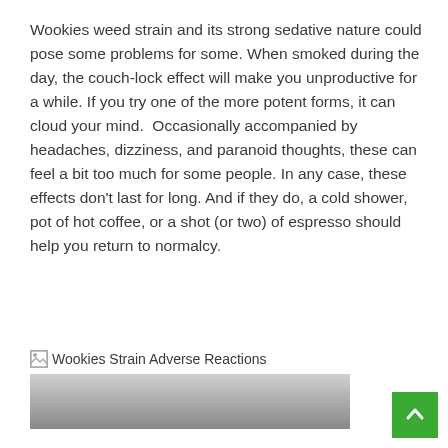Wookies weed strain and its strong sedative nature could pose some problems for some. When smoked during the day, the couch-lock effect will make you unproductive for a while. If you try one of the more potent forms, it can cloud your mind.  Occasionally accompanied by headaches, dizziness, and paranoid thoughts, these can feel a bit too much for some people. In any case, these effects don't last for long. And if they do, a cold shower, pot of hot coffee, or a shot (or two) of espresso should help you return to normalcy.
[Figure (photo): Broken image placeholder labeled 'Wookies Strain Adverse Reactions' with a grey gradient image area partially visible at the bottom of the page]